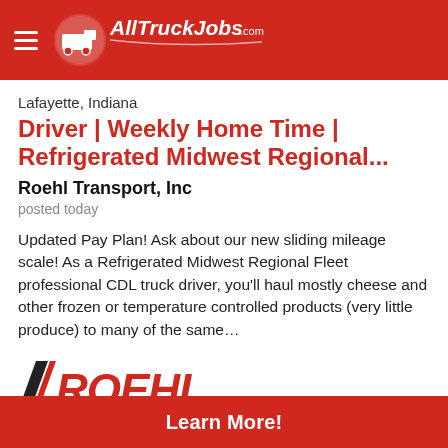AllTruckJobs.com
Lafayette, Indiana
Driver | Weekly Home Time | Refrigerated Midwest Regional...
Roehl Transport, Inc
posted today
Updated Pay Plan! Ask about our new sliding mileage scale! As a Refrigerated Midwest Regional Fleet professional CDL truck driver, you'll haul mostly cheese and other frozen or temperature controlled products (very little produce) to many of the same...
[Figure (logo): Roehl Transport Inc logo — stylized black/red diagonal stripes with ROEHL in large red letters and TRANSPORT INC below in black]
Learn More!